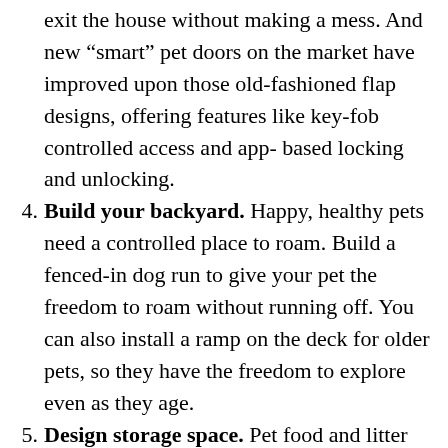exit the house without making a mess. And new “smart” pet doors on the market have improved upon those old-fashioned flap designs, offering features like key-fob controlled access and app-based locking and unlocking.
4. Build your backyard. Happy, healthy pets need a controlled place to roam. Build a fenced-in dog run to give your pet the freedom to roam without running off. You can also install a ramp on the deck for older pets, so they have the freedom to explore even as they age.
5. Design storage space. Pet food and litter takes up a lot of space, and it can often make a mess in your kitchen or laundry room. Try installing a designated pet supplies cabinet or storage bin to keep pet supplies out of sight. This will help